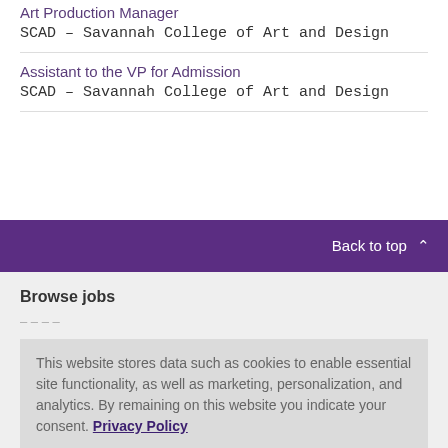Art Production Manager
SCAD – Savannah College of Art and Design
Assistant to the VP for Admission
SCAD – Savannah College of Art and Design
Back to top
Browse jobs
This website stores data such as cookies to enable essential site functionality, as well as marketing, personalization, and analytics. By remaining on this website you indicate your consent. Privacy Policy